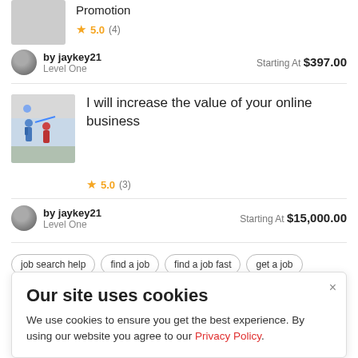[Figure (photo): Partial thumbnail of a listing (gray rectangle cropped at top)]
Promotion
★ 5.0 (4)
[Figure (photo): Small car silhouette avatar for jaykey21]
by jaykey21
Level One
Starting At $397.00
[Figure (illustration): Illustration showing people with arrows, colorful figures on gray background]
I will increase the value of your online business
★ 5.0 (3)
[Figure (photo): Small car silhouette avatar for jaykey21]
by jaykey21
Level One
Starting At $15,000.00
job search help
find a job
find a job fast
get a job
Our site uses cookies
We use cookies to ensure you get the best experience. By using our website you agree to our Privacy Policy.